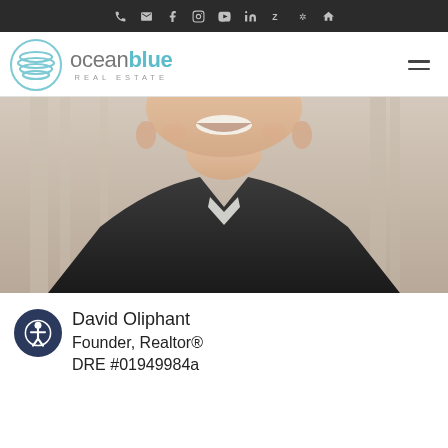Ocean Blue Real Estate — navigation bar with phone, email, facebook, instagram, youtube, linkedin, zillow, yelp, home icons
[Figure (logo): Ocean Blue Real Estate logo: circular wave icon in teal/blue with text 'oceanblue REAL ESTATE']
[Figure (photo): Professional headshot of a smiling man in a dark shirt, blurred outdoor background]
David Oliphant
Founder, Realtor®
DRE #01949984a